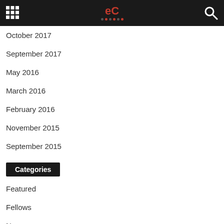eC
October 2017
September 2017
May 2016
March 2016
February 2016
November 2015
September 2015
Categories
Featured
Fellows
News
Tips
UX